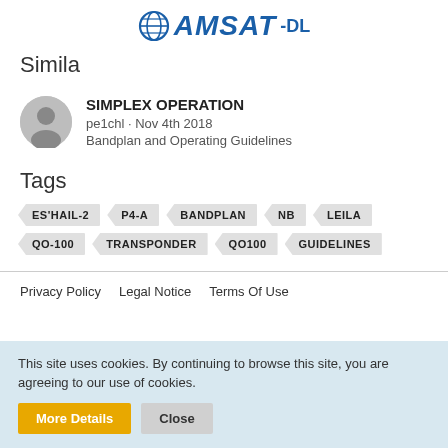AMSAT-DL
Simila
SIMPLEX OPERATION
pe1chl · Nov 4th 2018
Bandplan and Operating Guidelines
Tags
ES'HAIL-2
P4-A
BANDPLAN
NB
LEILA
QO-100
TRANSPONDER
QO100
GUIDELINES
Privacy Policy   Legal Notice   Terms Of Use
This site uses cookies. By continuing to browse this site, you are agreeing to our use of cookies.